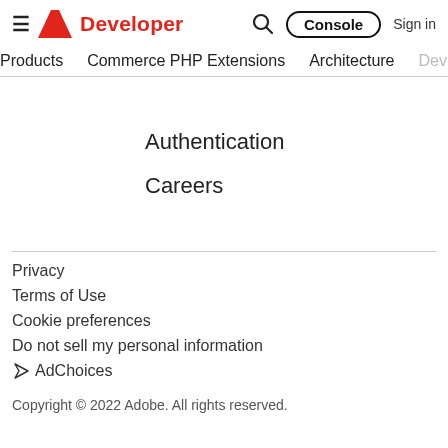≡ Adobe Developer  🔍  Console  Sign in
Products  Commerce PHP Extensions  Architecture  Dev
Authentication
Careers
Privacy
Terms of Use
Cookie preferences
Do not sell my personal information
AdChoices
Copyright © 2022 Adobe. All rights reserved.